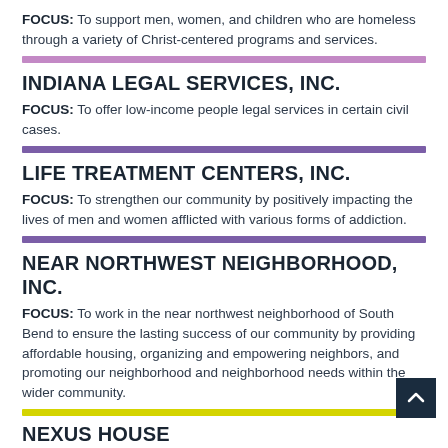FOCUS: To support men, women, and children who are homeless through a variety of Christ-centered programs and services.
INDIANA LEGAL SERVICES, INC.
FOCUS: To offer low-income people legal services in certain civil cases.
LIFE TREATMENT CENTERS, INC.
FOCUS: To strengthen our community by positively impacting the lives of men and women afflicted with various forms of addiction.
NEAR NORTHWEST NEIGHBORHOOD, INC.
FOCUS: To work in the near northwest neighborhood of South Bend to ensure the lasting success of our community by providing affordable housing, organizing and empowering neighbors, and promoting our neighborhood and neighborhood needs within the wider community.
NEXUS HOUSE